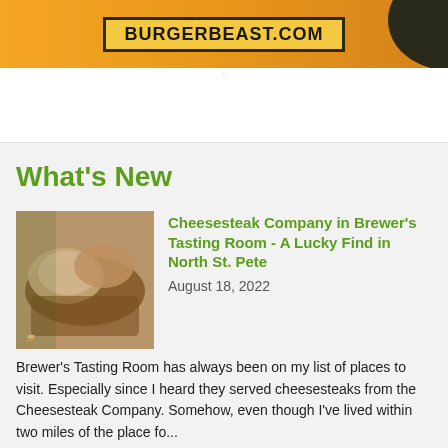[Figure (illustration): BurgerBeast.com banner advertisement with orange background, black text in a yellow box, and dark splash graphic on the right]
What's New
[Figure (photo): Food photo showing cheesesteaks on a plate]
Cheesesteak Company in Brewer's Tasting Room - A Lucky Find in North St. Pete
August 18, 2022
Brewer's Tasting Room has always been on my list of places to visit. Especially since I heard they served cheesesteaks from the Cheesesteak Company. Somehow, even though I've lived within two miles of the place fo...
[Figure (photo): Food photo showing Italian pasta dish]
Best Italian Restaurants in St. Petersburg FL 2022
August 17, 2022